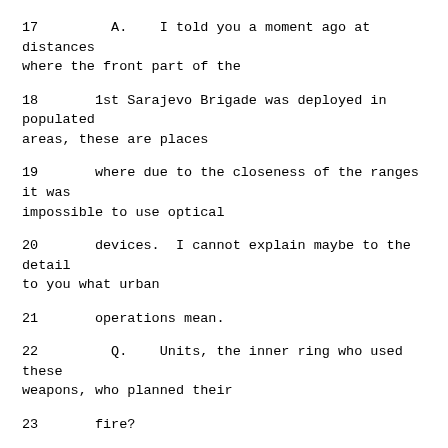17         A.   I told you a moment ago at distances where the front part of the
18       1st Sarajevo Brigade was deployed in populated areas, these are places
19       where due to the closeness of the ranges it was impossible to use optical
20       devices.  I cannot explain maybe to the detail to you what urban
21       operations mean.
22         Q.   Units, the inner ring who used these weapons, who planned their
23       fire?